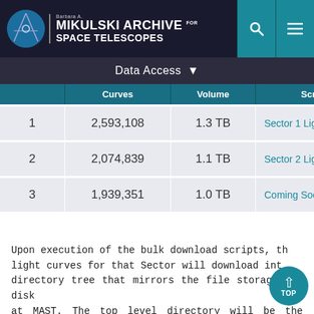MIKULSKI ARCHIVE FOR SPACE TELESCOPES
Data Access
|  | Curves | Volume | Script |
| --- | --- | --- | --- |
| 1 | 2,593,108 | 1.3 TB | Sector 1 Light Curves |
| 2 | 2,074,839 | 1.1 TB | Sector 2 Light Curves |
| 3 | 1,939,351 | 1.0 TB | Coming Soon |
Upon execution of the bulk download scripts, the light curves for that Sector will download into a directory tree that mirrors the file storage on-disk at MAST. The top level directory will be the Sector